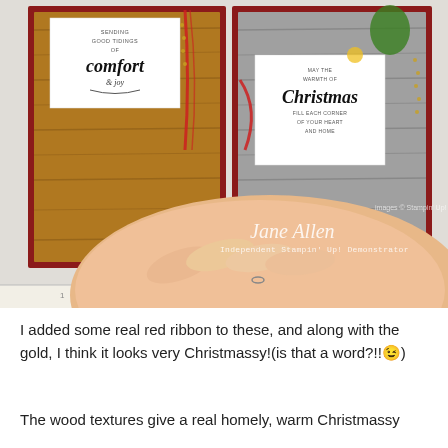[Figure (photo): A hand holding open two handmade Christmas cards with wood-texture paper, red ribbon, gold embellishments, and stamped sentiments reading 'Sending Good Tidings of comfort & joy' and 'May the warmth of Christmas fill each corner of your heart and home'. Watermark reads 'images © Stampin' Up!' and signature 'Jane Allen, Independent Stampin' Up! Demonstrator']
I added some real red ribbon to these, and along with the gold, I think it looks very Christmassy!(is that a word?!!😉)
The wood textures give a real homely, warm Christmassy